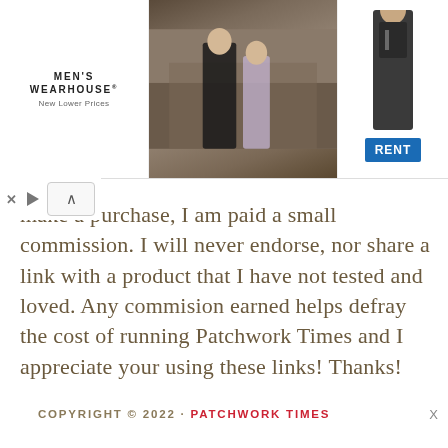[Figure (photo): Men's Wearhouse advertisement banner showing a couple in formal wear and a man in a suit with a RENT button]
make a purchase, I am paid a small commission. I will never endorse, nor share a link with a product that I have not tested and loved. Any commision earned helps defray the cost of running Patchwork Times and I appreciate your using these links! Thanks!
COPYRIGHT © 2022 · PATCHWORK TIMES